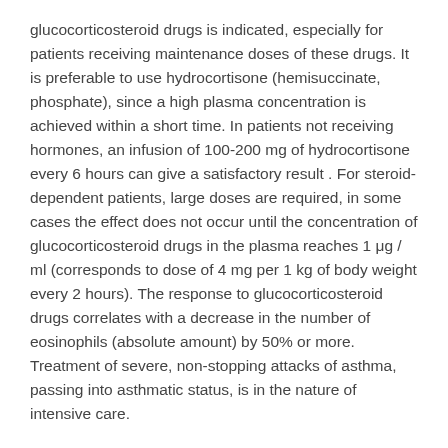glucocorticosteroid drugs is indicated, especially for patients receiving maintenance doses of these drugs. It is preferable to use hydrocortisone (hemisuccinate, phosphate), since a high plasma concentration is achieved within a short time. In patients not receiving hormones, an infusion of 100-200 mg of hydrocortisone every 6 hours can give a satisfactory result . For steroid-dependent patients, large doses are required, in some cases the effect does not occur until the concentration of glucocorticosteroid drugs in the plasma reaches 1 μg / ml (corresponds to dose of 4 mg per 1 kg of body weight every 2 hours). The response to glucocorticosteroid drugs correlates with a decrease in the number of eosinophils (absolute amount) by 50% or more. Treatment of severe, non-stopping attacks of asthma, passing into asthmatic status, is in the nature of intensive care.
Specific hypersensitivity in the treatment of bronchial asthma